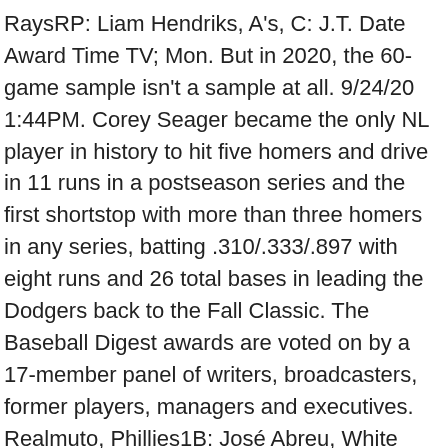RaysRP: Liam Hendriks, A's, C: J.T. Date Award Time TV; Mon. But in 2020, the 60-game sample isn't a sample at all. 9/24/20 1:44PM. Corey Seager became the only NL player in history to hit five homers and drive in 11 runs in a postseason series and the first shortstop with more than three homers in any series, batting .310/.333/.897 with eight runs and 26 total bases in leading the Dodgers back to the Fall Classic. The Baseball Digest awards are voted on by a 17-member panel of writers, broadcasters, former players, managers and executives. Realmuto, Phillies1B: José Abreu, White Sox2B: Brandon Lowe Rays3B: José Ramirez, IndiansSS: Corey Seager, DodgersOF: Ronald Acuña Jr., BravesOF: Mike Yastrzemski, GiantsOF: Michael Conforto, MetsDH: Nelson Cruz, TwinsSP: Gerrit Cole, YankeesSP: Dinelson Lamet,